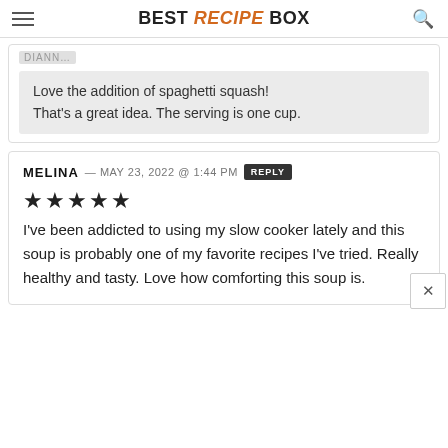BEST RECIPE BOX
Love the addition of spaghetti squash! That's a great idea. The serving is one cup.
MELINA — MAY 23, 2022 @ 1:44 PM REPLY
★★★★★
I've been addicted to using my slow cooker lately and this soup is probably one of my favorite recipes I've tried. Really healthy and tasty. Love how comforting this soup is.